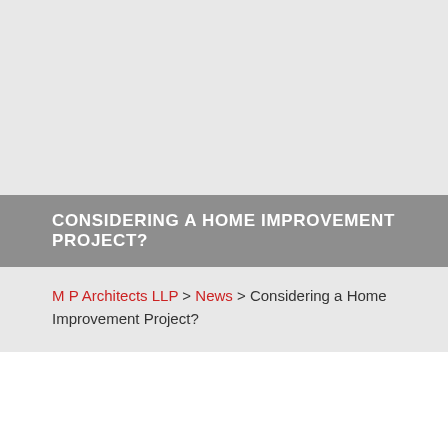[Figure (photo): Large gray area representing a header image placeholder]
CONSIDERING A HOME IMPROVEMENT PROJECT?
M P Architects LLP > News > Considering a Home Improvement Project?